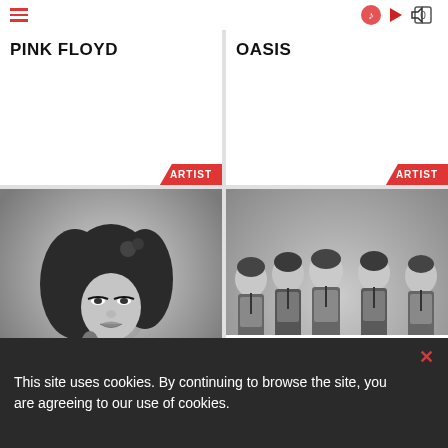Navigation bar with hamburger menu and icons
PINK FLOYD
ARTIST
OASIS
ARTIST
[Figure (photo): Black and white photo of Amy Winehouse singing into a microphone with long dark hair and roses]
AMY WINEHOUSE
ARTIST
[Figure (photo): Black and white photo of The Rolling Stones as young men wearing matching checkered suits]
THE ROLLING STONES
ARTIST
This site uses cookies. By continuing to browse the site, you are agreeing to our use of cookies.